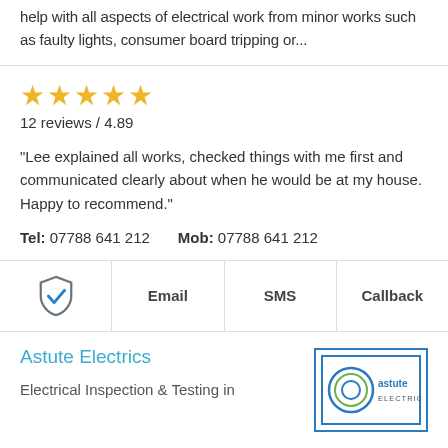help with all aspects of electrical work from minor works such as faulty lights, consumer board tripping or...
[Figure (other): Five gold star rating icons]
12 reviews / 4.89
"Lee explained all works, checked things with me first and communicated clearly about when he would be at my house. Happy to recommend."
Tel: 07788 641 212    Mob: 07788 641 212
[Figure (other): Orange and blue shield checkmark icon, Email, SMS, Callback action bar]
Astute Electrics
Electrical Inspection & Testing in